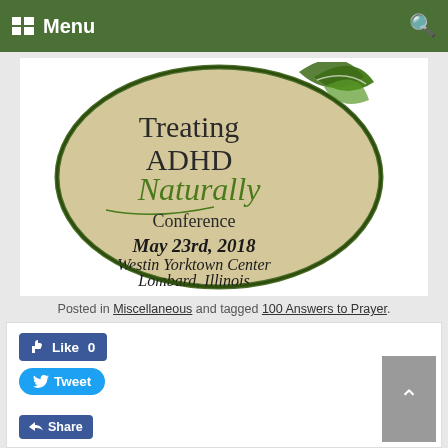Menu
[Figure (logo): Treating ADHD Naturally Conference logo — circular beige badge with green leaf, May 23rd 2018, Westin Yorktown Center, Lombard, Illinois]
Posted in Miscellaneous and tagged 100 Answers to Prayer.
Like 0   Tweet   Share